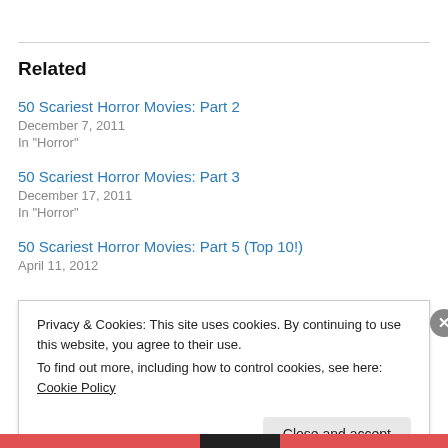Related
50 Scariest Horror Movies: Part 2
December 7, 2011
In "Horror"
50 Scariest Horror Movies: Part 3
December 17, 2011
In "Horror"
50 Scariest Horror Movies: Part 5 (Top 10!)
April 11, 2012
Privacy & Cookies: This site uses cookies. By continuing to use this website, you agree to their use.
To find out more, including how to control cookies, see here: Cookie Policy